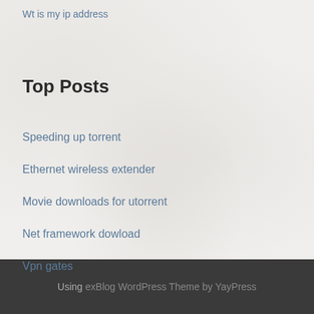Wt is my ip address
Top Posts
Speeding up torrent
Ethernet wireless extender
Movie downloads for utorrent
Net framework dowload
Vpn gates
Using exBlog WordPress Theme by YayPress